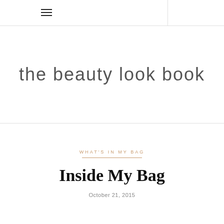[Figure (other): Navigation bar with hamburger menu icon (three horizontal lines) on the left, and a vertical divider on the right side]
the beauty look book
WHAT'S IN MY BAG
Inside My Bag
October 21, 2015